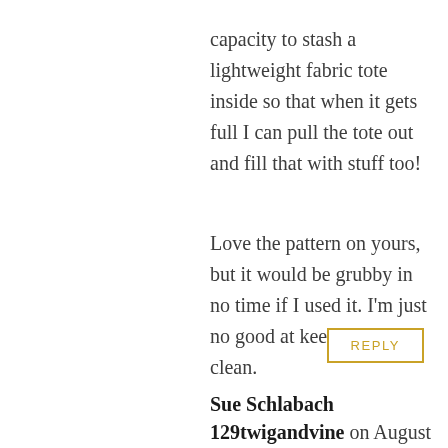capacity to stash a lightweight fabric tote inside so that when it gets full I can pull the tote out and fill that with stuff too!
Love the pattern on yours, but it would be grubby in no time if I used it. I'm just no good at keeping bags clean.
REPLY
Sue Schlabach 129twigandvine on August 20, 2013 at 8:14 am